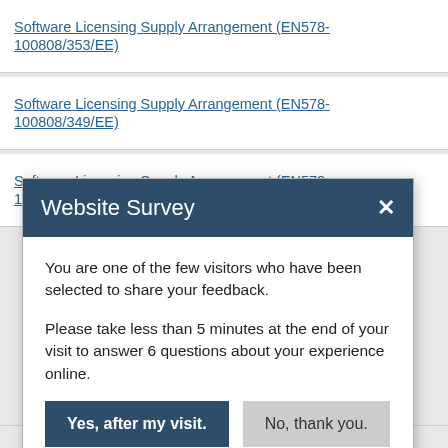Software Licensing Supply Arrangement (EN578-100808/353/EE)
Software Licensing Supply Arrangement (EN578-100808/349/EE)
Software Licensing Supply Arrangement (EN578-100808/354/EE)
Website Survey
You are one of the few visitors who have been selected to share your feedback.
Please take less than 5 minutes at the end of your visit to answer 6 questions about your experience online.